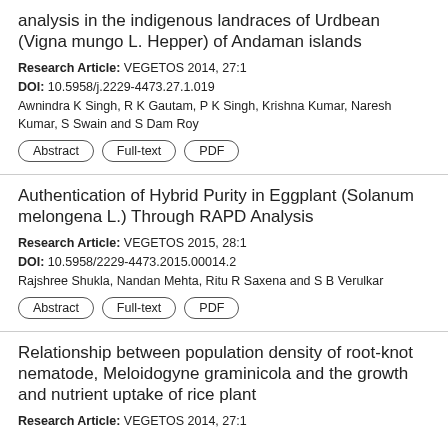analysis in the indigenous landraces of Urdbean (Vigna mungo L. Hepper) of Andaman islands
Research Article: VEGETOS 2014, 27:1
DOI: 10.5958/j.2229-4473.27.1.019
Awnindra K Singh, R K Gautam, P K Singh, Krishna Kumar, Naresh Kumar, S Swain and S Dam Roy
Abstract | Full-text | PDF
Authentication of Hybrid Purity in Eggplant (Solanum melongena L.) Through RAPD Analysis
Research Article: VEGETOS 2015, 28:1
DOI: 10.5958/2229-4473.2015.00014.2
Rajshree Shukla, Nandan Mehta, Ritu R Saxena and S B Verulkar
Abstract | Full-text | PDF
Relationship between population density of root-knot nematode, Meloidogyne graminicola and the growth and nutrient uptake of rice plant
Research Article: VEGETOS 2014, 27:1